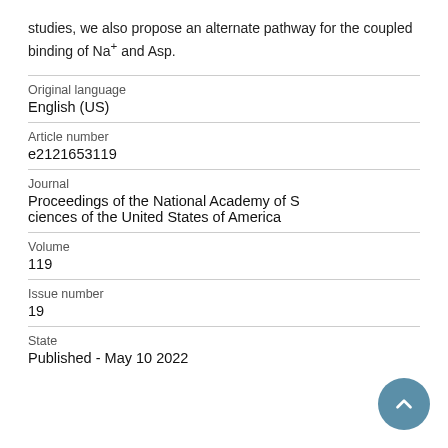studies, we also propose an alternate pathway for the coupled binding of Na+ and Asp.
| Original language | English (US) |
| Article number | e2121653119 |
| Journal | Proceedings of the National Academy of Sciences of the United States of America |
| Volume | 119 |
| Issue number | 19 |
| State | Published - May 10 2022 |